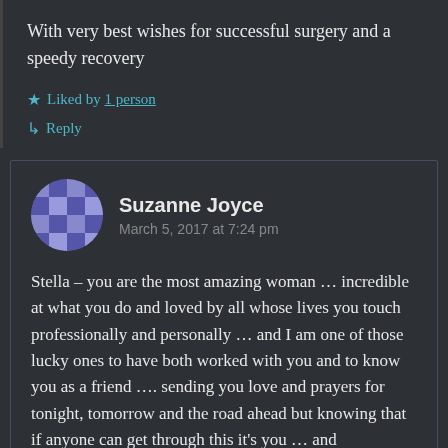With very best wishes for successful surgery and a speedy recovery
★ Liked by 1 person
↳ Reply
Suzanne Joyce
March 5, 2017 at 7:24 pm
Stella – you are the most amazing woman ... incredible at what you do and loved by all whose lives you touch professionally and personally ... and I am one of those lucky ones to have both worked with you and to know you as a friend .... sending you love and prayers for tonight, tomorrow and the road ahead but knowing that if anyone can get through this it's you … and